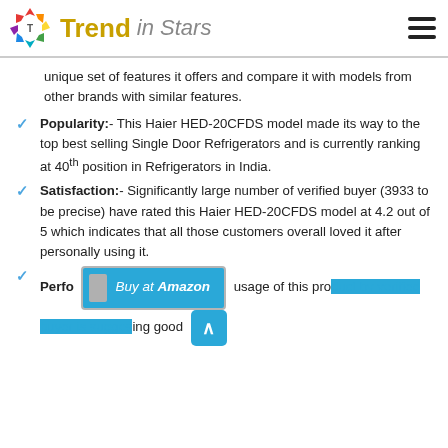Trend in Stars
unique set of features it offers and compare it with models from other brands with similar features.
Popularity:- This Haier HED-20CFDS model made its way to the top best selling Single Door Refrigerators and is currently ranking at 40th position in Refrigerators in India.
Satisfaction:- Significantly large number of verified buyer (3933 to be precise) have rated this Haier HED-20CFDS model at 4.2 out of 5 which indicates that all those customers overall loved it after personally using it.
Performance:- ...usage of this product by verified buyer is suggesting good